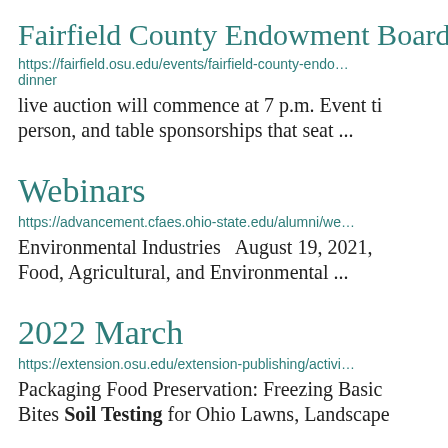Fairfield County Endowment Board D…
https://fairfield.osu.edu/events/fairfield-county-endo…dinner
live auction will commence at 7 p.m. Event ti…
person, and table sponsorships that seat ...
Webinars
https://advancement.cfaes.ohio-state.edu/alumni/we…
Environmental Industries   August 19, 2021,…
Food, Agricultural, and Environmental ...
2022 March
https://extension.osu.edu/extension-publishing/activi…
Packaging Food Preservation: Freezing Basic…
Bites Soil Testing for Ohio Lawns, Landscape…